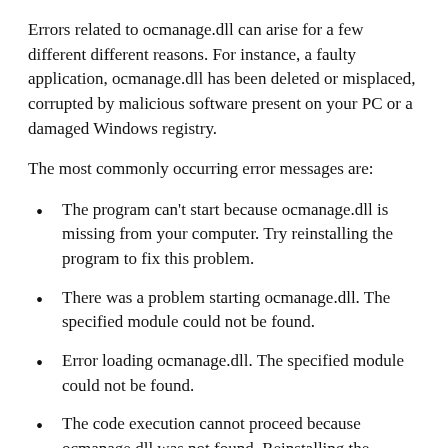Errors related to ocmanage.dll can arise for a few different different reasons. For instance, a faulty application, ocmanage.dll has been deleted or misplaced, corrupted by malicious software present on your PC or a damaged Windows registry.
The most commonly occurring error messages are:
The program can't start because ocmanage.dll is missing from your computer. Try reinstalling the program to fix this problem.
There was a problem starting ocmanage.dll. The specified module could not be found.
Error loading ocmanage.dll. The specified module could not be found.
The code execution cannot proceed because ocmanage.dll was not found. Reinstalling the program may fix this problem.
ocmanage.dll is either not designed to run on Windows or it contains an error. Try installing the program again using the original installation media or contact your system administrator or the software